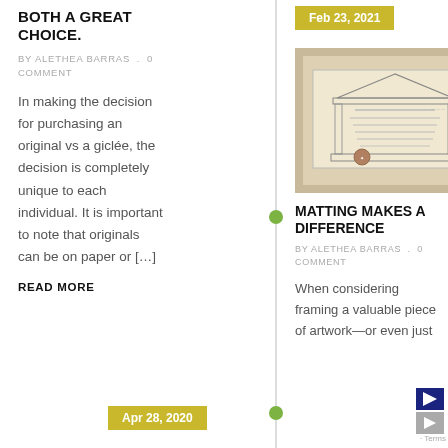BOTH A GREAT CHOICE.
BY ALETHEA BARRAS . 0 COMMENT
In making the decision for purchasing an original vs a giclée, the decision is completely unique to each individual. It is important to note that originals can be on paper or […]
READ MORE
Feb 23, 2021
[Figure (photo): A framed certificate or document with a decorative architectural border and a seal, displayed on a light background.]
MATTING MAKES A DIFFERENCE
BY ALETHEA BARRAS . 0 COMMENT
When considering framing a valuable piece of artwork—or even just
Apr 28, 2020